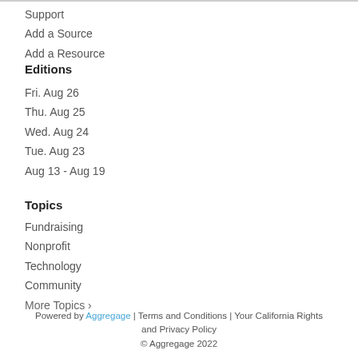Support
Add a Source
Add a Resource
Editions
Fri. Aug 26
Thu. Aug 25
Wed. Aug 24
Tue. Aug 23
Aug 13 - Aug 19
Topics
Fundraising
Nonprofit
Technology
Community
More Topics >
Powered by Aggregage | Terms and Conditions | Your California Rights and Privacy Policy © Aggregage 2022